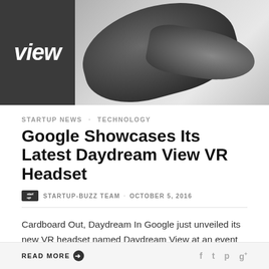[Figure (photo): Hero image showing a dark logo box with italic 'view' text on the left and a VR headset (Google Daydream View) on the right against a light grey background]
STARTUP NEWS · TECHNOLOGY
Google Showcases Its Latest Daydream View VR Headset
STARTUP-BUZZ TEAM · OCTOBER 5, 2016
Cardboard Out, Daydream In Google just unveiled its new VR headset named Daydream View at an event in San Francisco. It also unveiled its new flagship smartphone Google Pixel at the same event. Company's VR head, Clay Bavor, believes that VR is not just a technology of the future. Rather,
READ MORE ➔